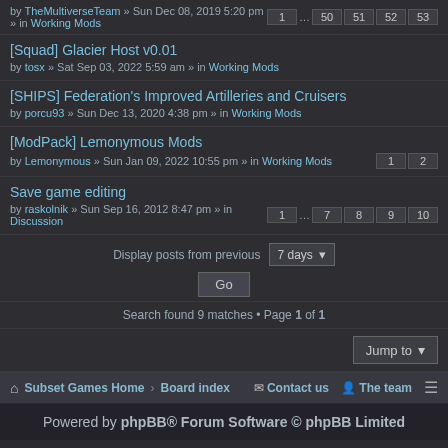by TheMultiverseTeam » Sun Dec 08, 2019 5:20 pm » in Working Mods  [pages: 1 ... 50 51 52 53]
[Squad] Glacier Host v0.01 by tosx » Sat Sep 03, 2022 5:59 am » in Working Mods
[SHIPS] Federation's Improved Artilleries and Cruisers by porcu93 » Sun Dec 13, 2020 4:38 pm » in Working Mods
[ModPack] Lemonymous Mods by Lemonymous » Sun Jan 09, 2022 10:55 pm » in Working Mods [pages: 1 2]
Save game editing by raskolnik » Sun Sep 16, 2012 8:47 pm » in Discussion [pages: 1 ... 7 8 9 10]
Display posts from previous  7 days  Go
Search found 9 matches • Page 1 of 1
Jump to
Subset Games Home > Board index   Contact us  The team
Powered by phpBB® Forum Software © phpBB Limited